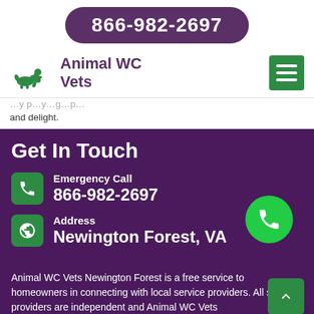866-982-2697
[Figure (logo): Animal WC Vets logo with green silhouette of person kneeling with dog]
Animal WC Vets
[Figure (infographic): Green hamburger menu icon]
and delight.
Get In Touch
Emergency Call
866-982-2697
Address
Newington Forest, VA
Animal WC Vets Newington Forest is a free service to homeowners in connecting with local service providers. All service providers are independent and Animal WC Vets